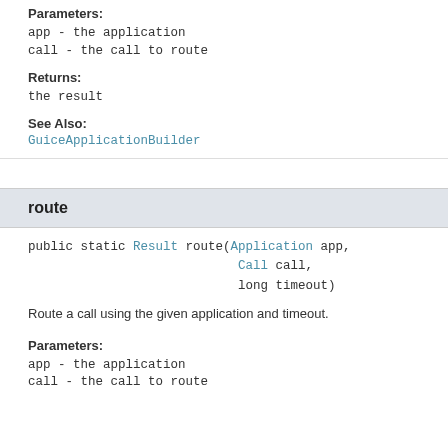Parameters:
app - the application
call - the call to route
Returns:
the result
See Also:
GuiceApplicationBuilder
route
public static Result route(Application app,
                            Call call,
                            long timeout)
Route a call using the given application and timeout.
Parameters:
app - the application
call - the call to route